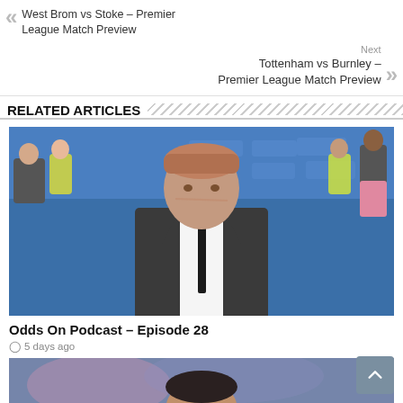West Brom vs Stoke – Premier League Match Preview
Next
Tottenham vs Burnley – Premier League Match Preview
RELATED ARTICLES
[Figure (photo): Football manager in dark suit standing in front of blue stadium seats with staff in background]
Odds On Podcast – Episode 28
5 days ago
[Figure (photo): Partial photo of footballer, mostly cropped, blurred crowd background]